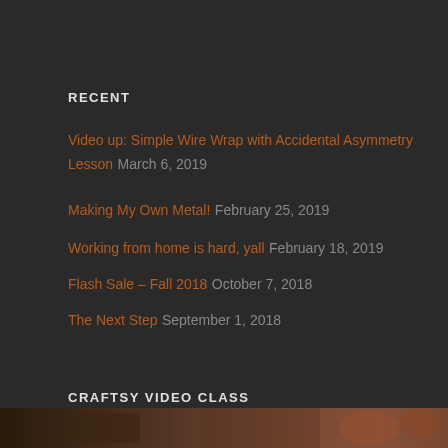RECENT
Video up: Simple Wire Wrap with Accidental Asymmetry Lesson March 6, 2019
Making My Own Metal! February 25, 2019
Working from home is hard, yall February 18, 2019
Flash Sale – Fall 2018 October 7, 2018
The Next Step September 1, 2018
CRAFTSY VIDEO CLASS
[Figure (photo): Partial view of a craftsy video class thumbnail image at the bottom of the page]